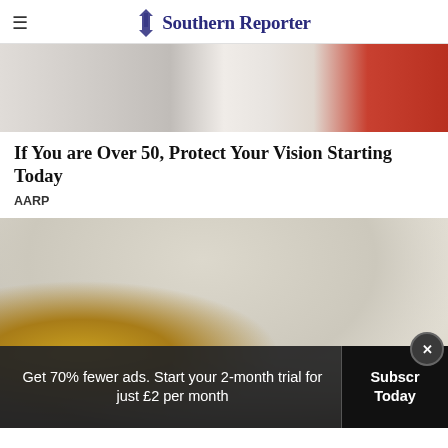Southern Reporter
[Figure (photo): Partial photo showing white fabric/clothing and a person in red, cropped at top]
If You are Over 50, Protect Your Vision Starting Today
AARP
[Figure (photo): Two older adults, a woman and a man, smiling and looking at something together in a bright white kitchen with windows and pendant light]
Get 70% fewer ads. Start your 2-month trial for just £2 per month
Subscribe Today